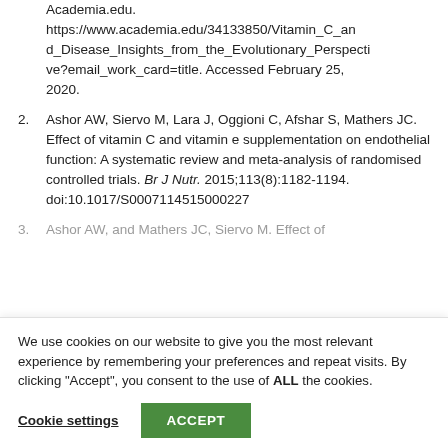Academia.edu. https://www.academia.edu/34133850/Vitamin_C_and_Disease_Insights_from_the_Evolutionary_Perspective?email_work_card=title. Accessed February 25, 2020.
2. Ashor AW, Siervo M, Lara J, Oggioni C, Afshar S, Mathers JC. Effect of vitamin C and vitamin e supplementation on endothelial function: A systematic review and meta-analysis of randomised controlled trials. Br J Nutr. 2015;113(8):1182-1194. doi:10.1017/S0007114515000227
3. Ashor AW, and Mathers JC, Siervo M. Effect of...
We use cookies on our website to give you the most relevant experience by remembering your preferences and repeat visits. By clicking "Accept", you consent to the use of ALL the cookies.